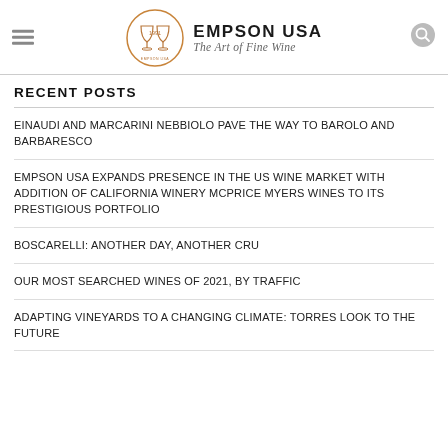[Figure (logo): Empson USA logo with circular emblem showing wine goblets and the text 'EMPSON USA The Art of Fine Wine']
RECENT POSTS
EINAUDI AND MARCARINI NEBBIOLO PAVE THE WAY TO BAROLO AND BARBARESCO
EMPSON USA EXPANDS PRESENCE IN THE US WINE MARKET WITH ADDITION OF CALIFORNIA WINERY MCPRICE MYERS WINES TO ITS PRESTIGIOUS PORTFOLIO
BOSCARELLI: ANOTHER DAY, ANOTHER CRU
OUR MOST SEARCHED WINES OF 2021, BY TRAFFIC
ADAPTING VINEYARDS TO A CHANGING CLIMATE: TORRES LOOK TO THE FUTURE